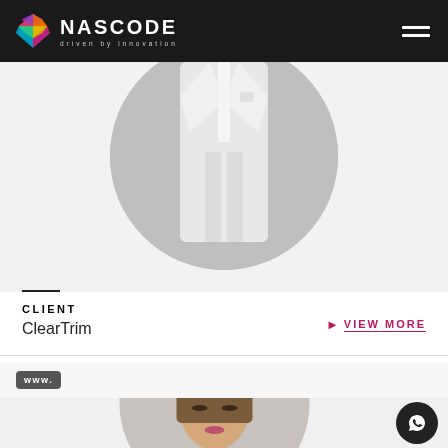NASCODE driven by innovation
[Figure (photo): Circular cropped photo of a person wearing a white suit, showing the torso and legs area, on a light grey background]
CLIENT
ClearTrim
VIEW MORE
www.
[Figure (photo): Circular cropped photo of a young woman with elegant makeup and light brown hair, against a grey background, partially visible at bottom of page]